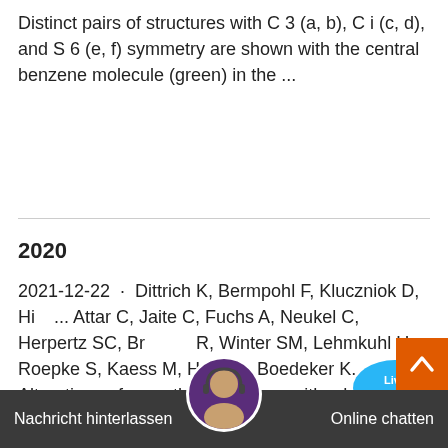Distinct pairs of structures with C 3 (a, b), C i (c, d), and S 6 (e, f) symmetry are shown with the central benzene molecule (green) in the ...
2020
2021-12-22 · Dittrich K, Bermpohl F, Kluczniok D, Hinz A, Attar C, Jaite C, Fuchs A, Neukel C, Herpertz SC, Brunner R, Winter SM, Lehmkuhl U, Roepke S, Kaess M, Heim C, Boedeker K. Alterations of empathy in mothers with a history of early life maltreatment, depression, and borderline personality disorder and their effects on child psychopathology upled System of Maxwell Equations and Circuit ...2019-7-17 · Coupled System of Maxwell Equations and Circuit Equ... Electro-Magnetism ... Analys... Simul... athen M.Sc. Math...